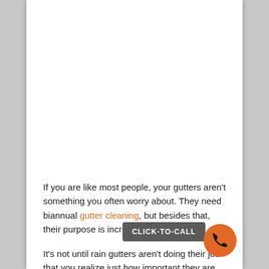If you are like most people, your gutters aren't something you often worry about. They need biannual gutter cleaning, but besides that, their purpose is incredibly simple.
It's not until rain gutters aren't doing their job that you realize just how important they are for your